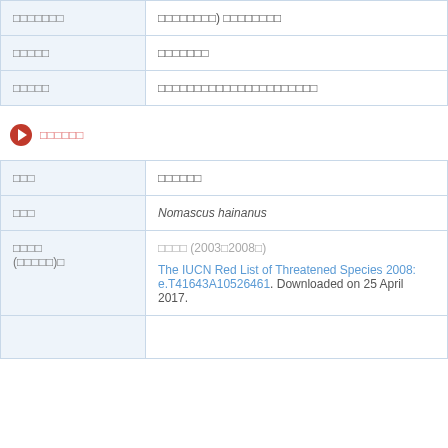| □□□□□□□ | □□□□□□□□) □□□□□□□□ |
| □□□□□ | □□□□□□□ |
| □□□□□ | □□□□□□□□□□□□□□□□□□□□□□ |
□□□□□□
| □□□ | □□□□□□ |
| □□□ | Nomascus hainanus |
| □□□□ (□□□□□)□ | □□□□ (2003□2008□)
The IUCN Red List of Threatened Species 2008: e.T41643A10526461. Downloaded on 25 April 2017. |
|  |  |